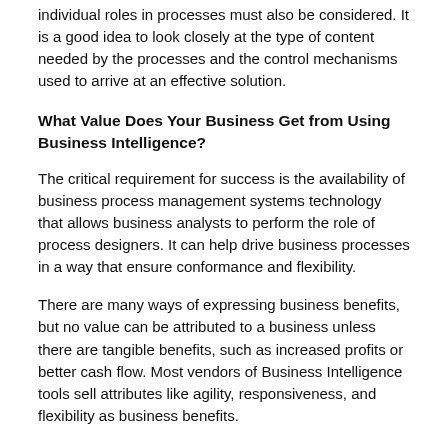individual roles in processes must also be considered. It is a good idea to look closely at the type of content needed by the processes and the control mechanisms used to arrive at an effective solution.
What Value Does Your Business Get from Using Business Intelligence?
The critical requirement for success is the availability of business process management systems technology that allows business analysts to perform the role of process designers. It can help drive business processes in a way that ensure conformance and flexibility.
There are many ways of expressing business benefits, but no value can be attributed to a business unless there are tangible benefits, such as increased profits or better cash flow. Most vendors of Business Intelligence tools sell attributes like agility, responsiveness, and flexibility as business benefits.